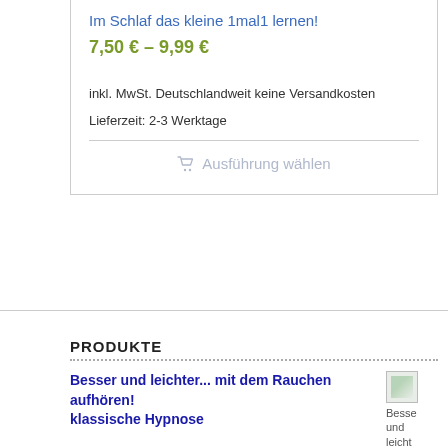Im Schlaf das kleine 1mal1 lernen!
7,50 € – 9,99 €
inkl. MwSt. Deutschlandweit keine Versandkosten
Lieferzeit: 2-3 Werktage
🛒 Ausführung wählen
PRODUKTE
Besser und leichter... mit dem Rauchen aufhören! klassische Hypnose
[Figure (photo): Thumbnail image for product 'Besser und leichter mit dem Rauchen aufhören', partially visible on right edge]